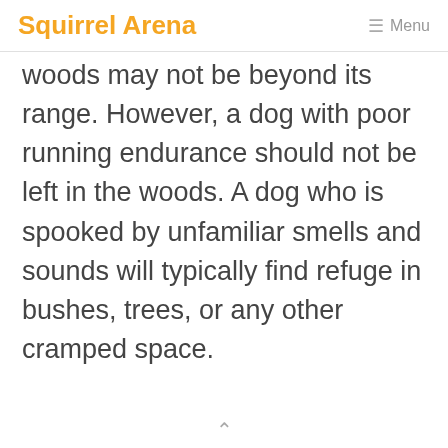Squirrel Arena  ☰ Menu
woods may not be beyond its range. However, a dog with poor running endurance should not be left in the woods. A dog who is spooked by unfamiliar smells and sounds will typically find refuge in bushes, trees, or any other cramped space.